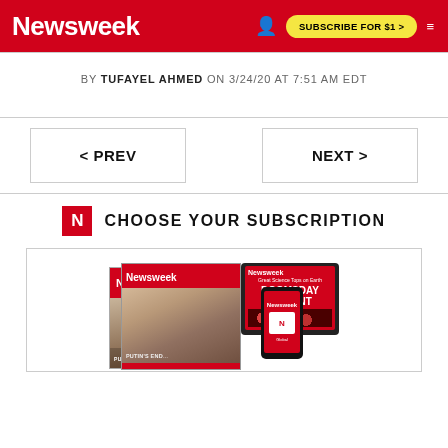Newsweek — SUBSCRIBE FOR $1 >
BY TUFAYEL AHMED ON 3/24/20 AT 7:51 AM EDT
< PREV    NEXT >
N  CHOOSE YOUR SUBSCRIPTION
[Figure (illustration): Newsweek magazine covers and digital devices showing Newsweek subscription options, including print magazine with Putin's face, tablet with Doomsday Variant cover, and smartphone with Newsweek app]